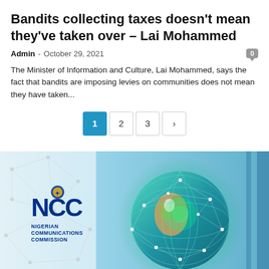Bandits collecting taxes doesn't mean they've taken over – Lai Mohammed
Admin - October 29, 2021
The Minister of Information and Culture, Lai Mohammed, says the fact that bandits are imposing levies on communities does not mean they have taken...
[Figure (screenshot): Pagination bar showing pages 1, 2, 3 and next arrow button, with page 1 highlighted in blue]
[Figure (photo): NCC Nigerian Communications Commission logo with globe connected by network lines and glowing green light, blue background]